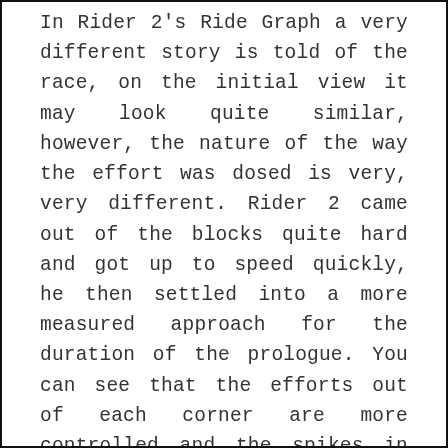In Rider 2's Ride Graph a very different story is told of the race, on the initial view it may look quite similar, however, the nature of the way the effort was dosed is very, very different. Rider 2 came out of the blocks quite hard and got up to speed quickly, he then settled into a more measured approach for the duration of the prologue. You can see that the efforts out of each corner are more controlled and the spikes in power much lower. This can be attributed to both very smooth and confident cornering and also the ability to get the gearing correct coming into the